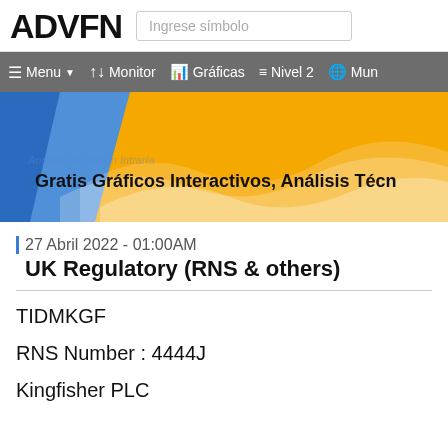ADVFN — Ingrese símbolo
[Figure (screenshot): ADVFN navigation bar with Menu, Monitor, Gráficas, Nivel 2, Mun options on dark grey background]
[Figure (illustration): ADVFN promotional banner with blue and gold gradient background and white wave design. Text: Gratis Gráficos Interactivos, Análisis Técn]
27 Abril 2022 - 01:00AM
UK Regulatory (RNS & others)
TIDMKGF
RNS Number : 4444J
Kingfisher PLC